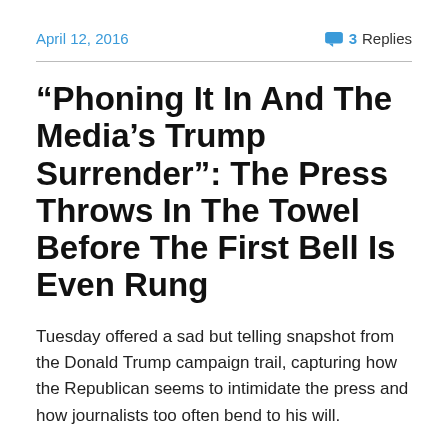April 12, 2016    💬 3 Replies
“Phoning It In And The Media’s Trump Surrender”: The Press Throws In The Towel Before The First Bell Is Even Rung
Tuesday offered a sad but telling snapshot from the Donald Trump campaign trail, capturing how the Republican seems to intimidate the press and how journalists too often bend to his will.
Tuesday morning, Trump was scheduled to appear live on several morning programs, via satellites from his home in